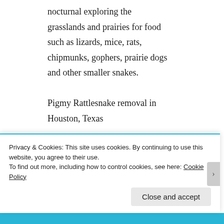nocturnal exploring the grasslands and prairies for food such as lizards, mice, rats, chipmunks, gophers, prairie dogs and other smaller snakes.
Pigmy Rattlesnake removal in Houston, Texas
Western Diamond Back
Privacy & Cookies: This site uses cookies. By continuing to use this website, you agree to their use.
To find out more, including how to control cookies, see here: Cookie Policy